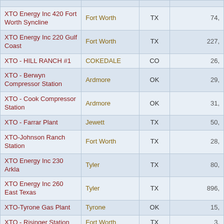| Name | City | State | Value |
| --- | --- | --- | --- |
| XTO Energy Inc 420 Fort Worth Syncline | Fort Worth | TX | 74, |
| XTO Energy Inc 220 Gulf Coast | Fort Worth | TX | 227, |
| XTO - HILL RANCH #1 | COKEDALE | CO | 26, |
| XTO - Berwyn Compressor Station | Ardmore | OK | 29, |
| XTO - Cook Compressor Station | Ardmore | OK | 31, |
| XTO - Farrar Plant | Jewett | TX | 50, |
| XTO-Johnson Ranch Station | Fort Worth | TX | 28, |
| XTO Energy Inc 230 Arkla | Tyler | TX | 80, |
| XTO Energy Inc 260 East Texas | Tyler | TX | 896, |
| XTO-Tyrone Gas Plant | Tyrone | OK | 15, |
| XTO - Risinger Station | Fort Worth | TX | 3, |
| Exxonmobil Beaumont | BEAUMONT | TX | 5,098, |